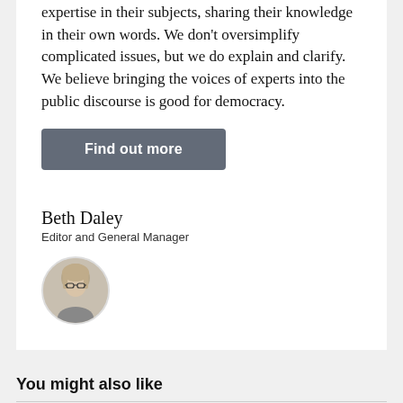expertise in their subjects, sharing their knowledge in their own words. We don't oversimplify complicated issues, but we do explain and clarify. We believe bringing the voices of experts into the public discourse is good for democracy.
Find out more
Beth Daley
Editor and General Manager
[Figure (photo): Circular portrait photo of Beth Daley, a woman with blonde hair and glasses]
You might also like